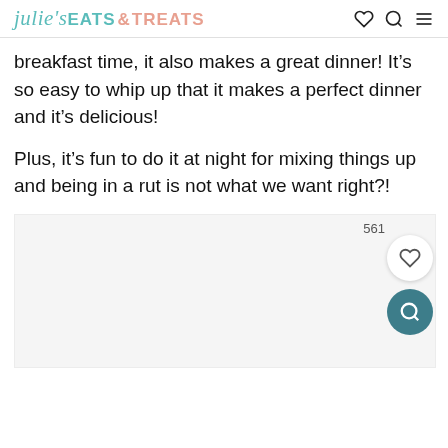julie's EATS & TREATS
breakfast time, it also makes a great dinner! It’s so easy to whip up that it makes a perfect dinner and it’s delicious!
Plus, it’s fun to do it at night for mixing things up and being in a rut is not what we want right?!
[Figure (screenshot): Partially visible image placeholder with a save count of 561, a white circular heart/save button, and a teal circular search button overlay on the right side.]